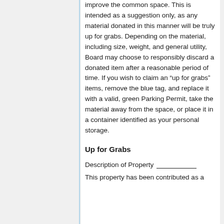improve the common space. This is intended as a suggestion only, as any material donated in this manner will be truly up for grabs. Depending on the material, including size, weight, and general utility, Board may choose to responsibly discard a donated item after a reasonable period of time. If you wish to claim an “up for grabs” items, remove the blue tag, and replace it with a valid, green Parking Permit, take the material away from the space, or place it in a container identified as your personal storage.
Up for Grabs
Description of Property __________
This property has been contributed as a